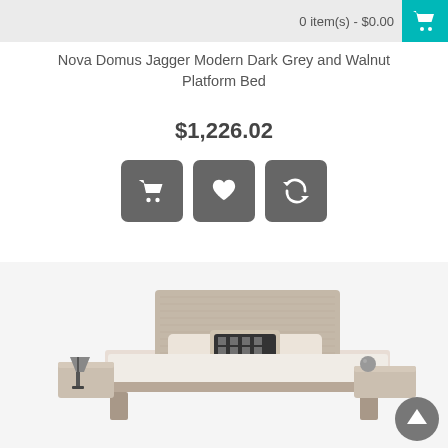0 item(s) - $0.00
Nova Domus Jagger Modern Dark Grey and Walnut Platform Bed
$1,226.02
[Figure (screenshot): Three grey rounded square buttons: shopping cart icon, heart/wishlist icon, and refresh/compare icon]
[Figure (photo): Nova Domus Jagger Modern Dark Grey and Walnut Platform Bed product photo showing a low-profile platform bed with grey headboard, white bedding, patterned black and white pillows, and nightstands with a desk lamp]